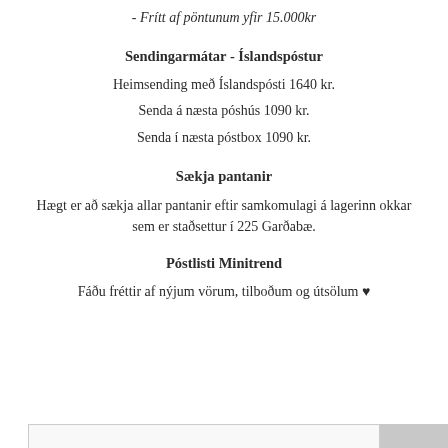- Frítt af pöntunum yfir 15.000kr
Sendingarmátar - Íslandspóstur
Heimsending með Íslandspósti 1640 kr.
Senda á næsta póshús 1090 kr.
Senda í næsta póstbox 1090 kr.
Sækja pantanir
Hægt er að sækja allar pantanir eftir samkomulagi á lagerinn okkar sem er staðsettur í 225 Garðabæ.
Póstlisti Minitrend
Fáðu fréttir af nýjum vörum, tilboðum og útsölum ♥